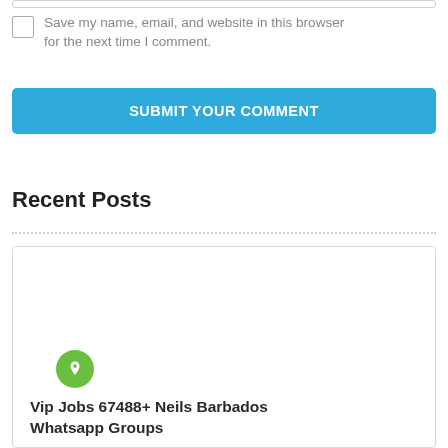Save my name, email, and website in this browser for the next time I comment.
SUBMIT YOUR COMMENT
Recent Posts
[Figure (other): Post card with white image area, green pin icon circle, and post title text beginning with 'Vip Jobs 67488+ Neils Barbados Whatsapp Groups']
Vip Jobs 67488+ Neils Barbados Whatsapp Groups